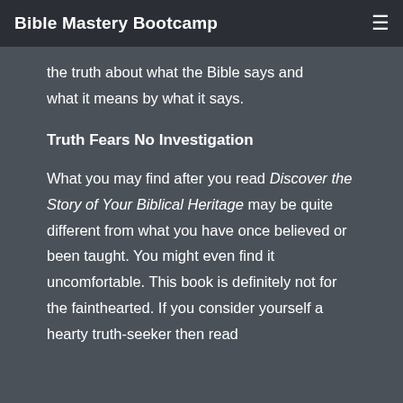Bible Mastery Bootcamp
the truth about what the Bible says and what it means by what it says.
Truth Fears No Investigation
What you may find after you read Discover the Story of Your Biblical Heritage may be quite different from what you have once believed or been taught. You might even find it uncomfortable. This book is definitely not for the fainthearted. If you consider yourself a hearty truth-seeker then read